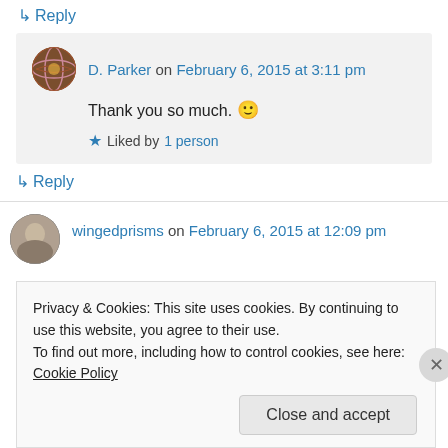↳ Reply
D. Parker on February 6, 2015 at 3:11 pm
Thank you so much. 🙂
★ Liked by 1 person
↳ Reply
wingedprisms on February 6, 2015 at 12:09 pm
Privacy & Cookies: This site uses cookies. By continuing to use this website, you agree to their use.
To find out more, including how to control cookies, see here: Cookie Policy
Close and accept